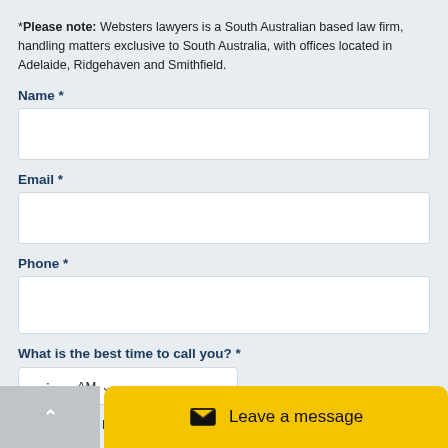*Please note: Websters lawyers is a South Australian based law firm, handling matters exclusive to South Australia, with offices located in Adelaide, Ridgehaven and Smithfield.
Name *
Email *
Phone *
What is the best time to call you? *
How did you hear about us?
Leave a message